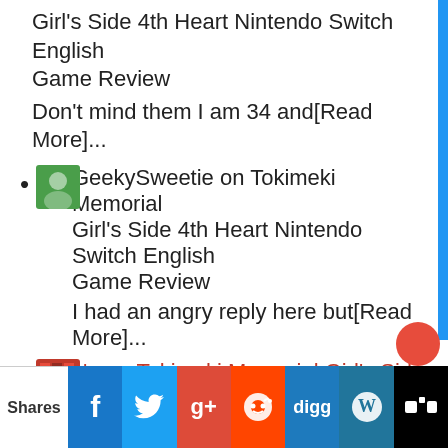Girl's Side 4th Heart Nintendo Switch English Game Review
Don't mind them I am 34 and[Read More]...
GeekySweetie on Tokimeki Memorial Girl's Side 4th Heart Nintendo Switch English Game Review
I had an angry reply here but[Read More]...
No on Tokimeki Memorial Girl's Side 4th Heart Nintendo Switch English Game Review
Aren't you a bit old to be[Read More]...
GeekySweetie on Big Fish and Begonia Anime Review
Ah I must've missed that. I will[Read More]...
yazx5 on Big Fish and Begonia Anime Review